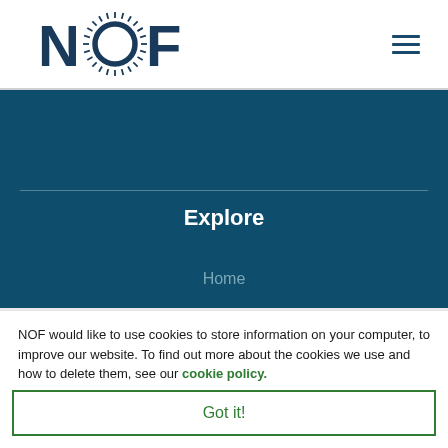[Figure (logo): NOF logo with stylized sunburst O letter in dark blue/teal]
[Figure (other): Hamburger menu icon (three horizontal lines) on the right side of header]
Explore
Home
NOF would like to use cookies to store information on your computer, to improve our website. To find out more about the cookies we use and how to delete them, see our cookie policy.
Got it!